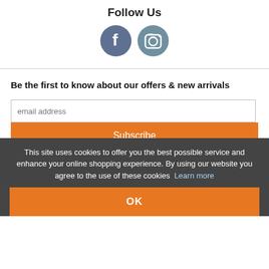Follow Us
[Figure (illustration): Two circular social media icons: Facebook (dark blue-grey circle with white 'f') and Instagram (medium blue-grey circle with white camera icon)]
Be the first to know about our offers & new arrivals
email address
Subscribe
Customer Service
My Account
This site uses cookies to offer you the best possible service and enhance your online shopping experience. By using our website you agree to the use of these cookies  Learn more
OK